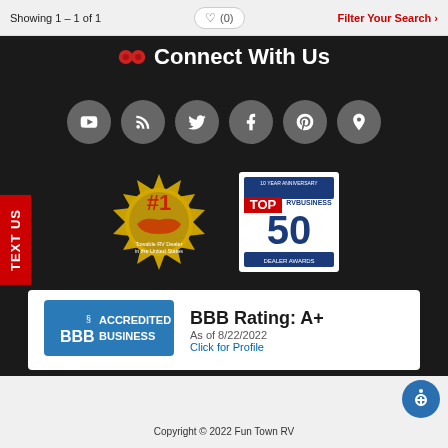Showing 1 – 1 of 1   ♡ (0)   Filter Your Search >
Connect With Us
[Figure (logo): Six social media icon circles: YouTube, RSS, Twitter, Facebook, Pinterest, Location pin]
[Figure (logo): #1 Towable RV Dealer in the United States - circular gold badge]
[Figure (logo): RVBusiness Top 50 Dealer Awards - 10 Year Anniversary badge]
[Figure (logo): BBB Accredited Business logo with BBB Rating: A+, As of 8/22/2022, Click for Profile]
TEXT US
[Figure (logo): Fun Town RV logo]
Copyright © 2022 Fun Town RV